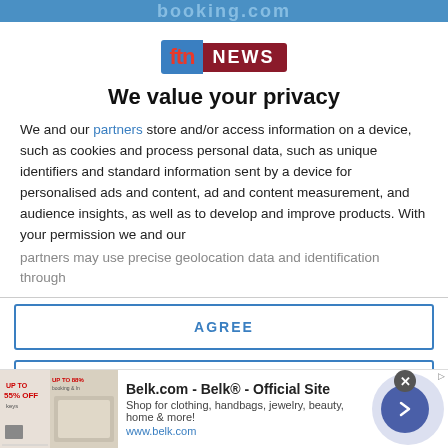booking.com
[Figure (logo): FTN NEWS logo — blue box with red 'ftn' text and dark red box with white 'NEWS' text]
We value your privacy
We and our partners store and/or access information on a device, such as cookies and process personal data, such as unique identifiers and standard information sent by a device for personalised ads and content, ad and content measurement, and audience insights, as well as to develop and improve products. With your permission we and our partners may use precise geolocation data and identification through
AGREE
MORE OPTIONS
[Figure (screenshot): Advertisement for Belk.com — Belk Official Site. Shop for clothing, handbags, jewelry, beauty, home & more! www.belk.com]